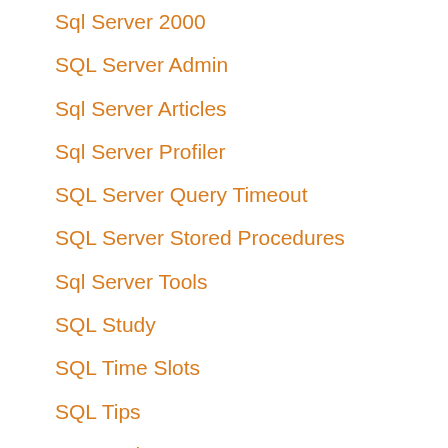Sql Server 2000
SQL Server Admin
Sql Server Articles
Sql Server Profiler
SQL Server Query Timeout
SQL Server Stored Procedures
Sql Server Tools
SQL Study
SQL Time Slots
SQL Tips
SQL Tools
Sql View Info
SqlCmd
SqlDataReader With DateTime
SqlDbType.Structured
SqlDependency